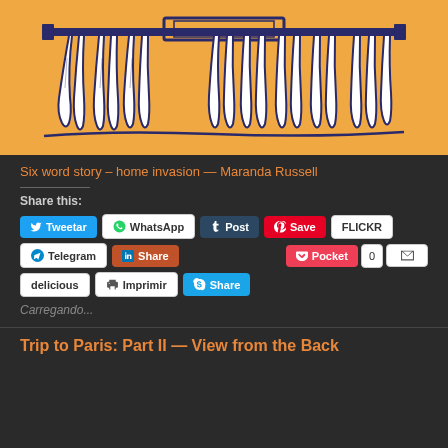[Figure (illustration): A hand-drawn illustration on an orange/amber background showing a row of monster-like claws or fingers gripping a horizontal bar, rendered in dark blue/navy ink lines with white space, depicting a home invasion scene.]
Six word story – home invasion — Maranda Russell
Share this:
Tweetar | WhatsApp | Post | Save | FLICKR | Telegram | Share | Pocket | 0 | [email] | delicious | Imprimir | Share
Carregando...
Trip to Paris: Part II — View from the Back